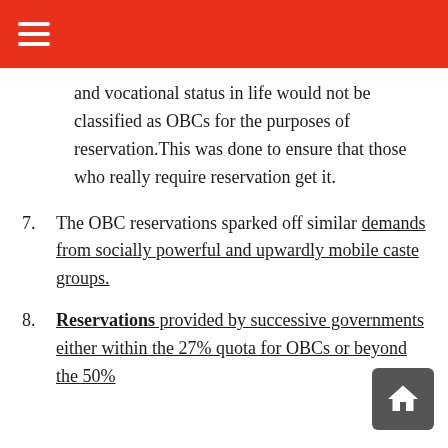≡
and vocational status in life would not be classified as OBCs for the purposes of reservation. This was done to ensure that those who really require reservation get it.
7. The OBC reservations sparked off similar demands from socially powerful and upwardly mobile caste groups.
8. Reservations provided by successive governments either within the 27% quota for OBCs or beyond the 50%